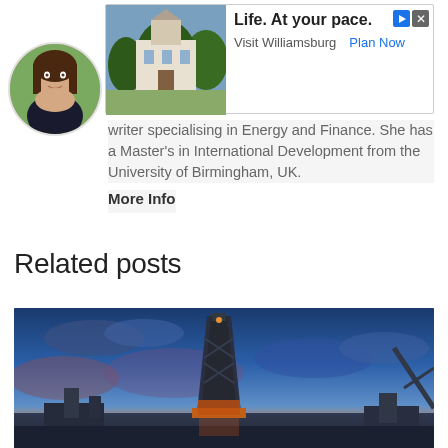[Figure (other): Advertisement banner showing Williamsburg colonial building image with text 'Life. At your pace. Visit Williamsburg Plan Now']
[Figure (photo): Circular profile photo of a woman with long dark hair outdoors]
writer specialising in Energy and Finance. She has a Master's in International Development from the University of Birmingham, UK.
More Info
Related posts
[Figure (photo): Oil drilling rig silhouetted against a dramatic blue and orange sunset sky]